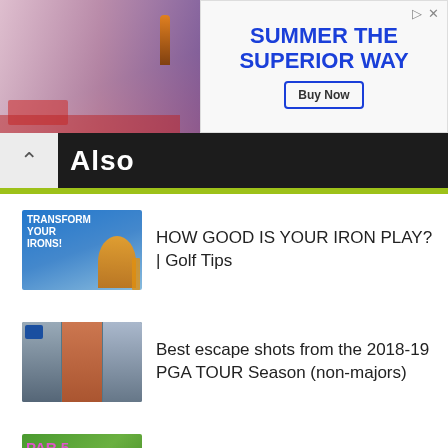[Figure (photo): Advertisement banner: photo of person with drinks on left, blue text 'SUMMER THE SUPERIOR WAY' with 'Buy Now' button on right]
Also
HOW GOOD IS YOUR IRON PLAY? | Golf Tips
Best escape shots from the 2018-19 PGA TOUR Season (non-majors)
How to play Par 5 like a Pro – Golf with Michele Low
Try this Simple Golf Swing Drill For Consistent Body Move